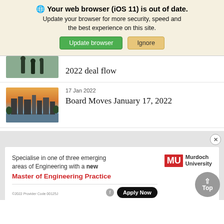🌐 Your web browser (iOS 11) is out of date. Update your browser for more security, speed and the best experience on this site. [Update browser] [Ignore]
[Figure (photo): Partial image of people standing on a surface, cut off at top]
2022 deal flow
[Figure (photo): City skyline at sunset with river, skyscrapers, warm golden light]
17 Jan 2022
Board Moves January 17, 2022
[Figure (advertisement): Murdoch University advertisement: Specialise in one of three emerging areas of Engineering with a new Master of Engineering Practice. Apply Now button. MU logo in red.]